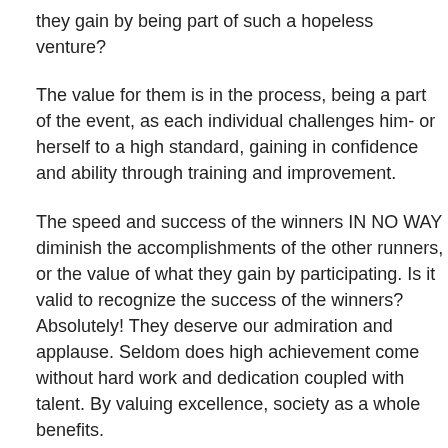they gain by being part of such a hopeless venture?
The value for them is in the process, being a part of the event, as each individual challenges him- or herself to a high standard, gaining in confidence and ability through training and improvement.
The speed and success of the winners IN NO WAY diminish the accomplishments of the other runners, or the value of what they gain by participating. Is it valid to recognize the success of the winners? Absolutely! They deserve our admiration and applause. Seldom does high achievement come without hard work and dedication coupled with talent. By valuing excellence, society as a whole benefits.
Source: Hoagies Gifted Education